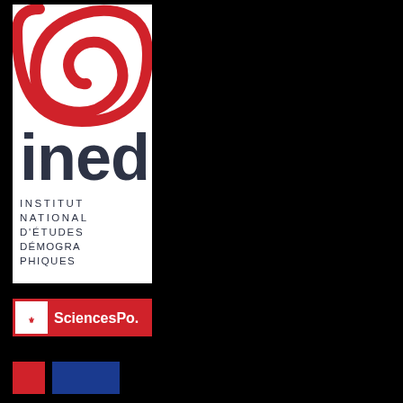[Figure (logo): INED logo — red spiral graphic above bold dark-blue lowercase 'ined' text, with INSTITUT NATIONAL D'ÉTUDES DÉMOGRAPHIQUES in spaced capital letters below]
[Figure (logo): SciencesPo. logo — red rectangle with crest icon on left and 'SciencesPo.' white text on red background]
[Figure (logo): Partial third logo at bottom, cut off]